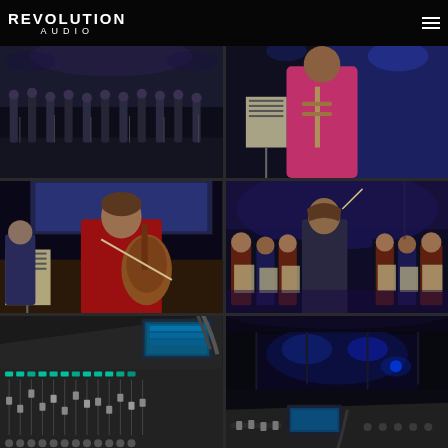Revolution Audio
[Figure (photo): Choir or ensemble group standing on stage with microphones, dark performance venue]
[Figure (photo): Close-up of musician holding instrument, pink/red top, blue stage lighting]
[Figure (photo): Young cellist in red shirt playing cello, orchestra performance, projection screen in background]
[Figure (photo): Conductor or director from behind facing youth orchestra, purple stage lighting]
[Figure (photo): Close-up of professional audio mixing console with faders and colored buttons]
[Figure (photo): Dark venue interior with audio mixing desk in foreground and stage with blue lighting in background]